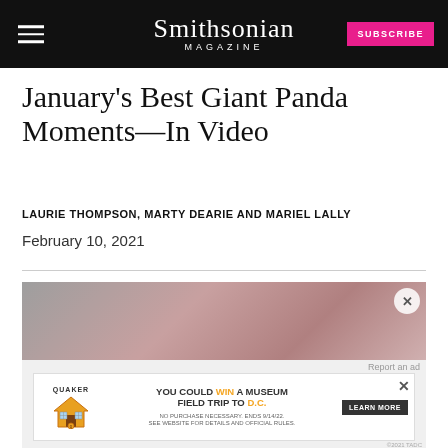Smithsonian MAGAZINE
January's Best Giant Panda Moments—In Video
LAURIE THOMPSON, MARTY DEARIE AND MARIEL LALLY
February 10, 2021
[Figure (photo): Partial view of a giant panda photograph, blurred/cropped]
[Figure (other): Advertisement banner: Quaker - You could WIN a Museum FIELD TRIP TO D.C. Learn More. No purchase necessary. Ends 9/14/22. See website for details and official rules.]